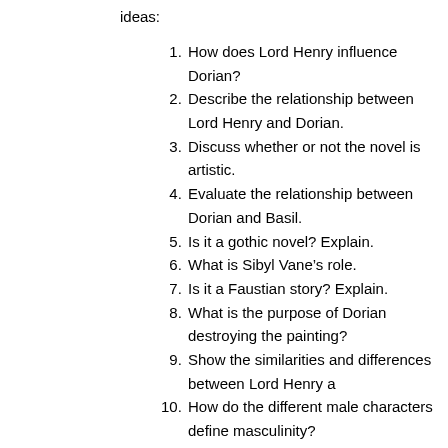ideas:
1. How does Lord Henry influence Dorian?
2. Describe the relationship between Lord Henry and Dorian.
3. Discuss whether or not the novel is artistic.
4. Evaluate the relationship between Dorian and Basil.
5. Is it a gothic novel? Explain.
6. What is Sibyl Vane’s role.
7. Is it a Faustian story? Explain.
8. What is the purpose of Dorian destroying the painting?
9. Show the similarities and differences between Lord Henry a…
10. How do the different male characters define masculinity?
11. Share your thoughts on the idea of beauty in the nove… Dorian Gray.
12. Discuss the significance of the title.
13. Offer a psychoanalysis of Dorian Gray or another cha… Picture of Dorian Gray.
14. Does Dorian Gray have a mental illness?
15. How do the names fit the characters?
16. Choose a quote from the book and share the significance…